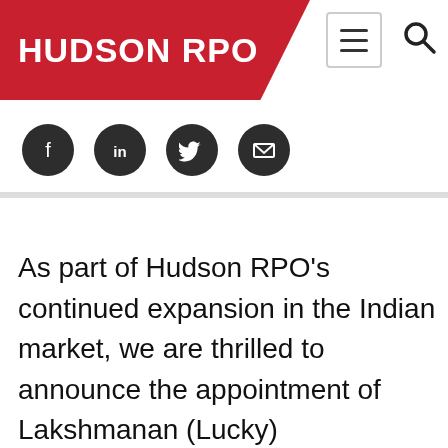Hudson RPO
[Figure (illustration): Social media icons row: Facebook, LinkedIn, Twitter, Email — dark circular icons]
As part of Hudson RPO’s continued expansion in the Indian market, we are thrilled to announce the appointment of Lakshmanan (Lucky) Ramanathan as our Client Solutions Manager based in Chennai, India. Lucky joins our already existing Karani team of 600 employees in India, providing recruitment services to local and international markets.